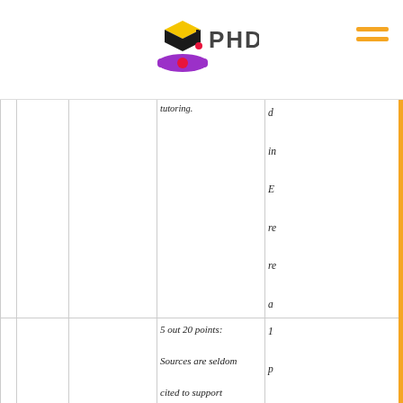PHD
|  |  |  | tutoring. | d

i

E

re

re

a |
|  |  |  | 5 out 20 points:

Sources are seldom

cited to support

statements and/or | 1

p

Re

s

s

o |